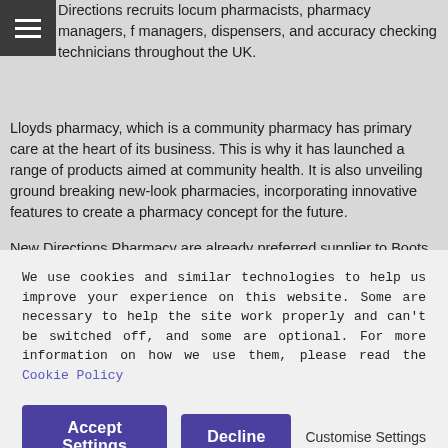Directions recruits locum pharmacists, pharmacy managers, f managers, dispensers, and accuracy checking technicians throughout the UK.
Lloyds pharmacy, which is a community pharmacy has primary care at the heart of its business. This is why it has launched a range of products aimed at community health. It is also unveiling ground breaking new-look pharmacies, incorporating innovative features to create a pharmacy concept for the future.
New Directions Pharmacy are already preferred supplier to Boots Alliance, Rowlands, Superdrug and Tesco and also supply contractors to every other multiple organisation.
New Directions will have ad-hoc days, short term and long term bookings to offer with Lloyds Pharmacy throughout the UK
We use cookies and similar technologies to help us improve your experience on this website. Some are necessary to help the site work properly and can't be switched off, and some are optional. For more information on how we use them, please read the Cookie Policy